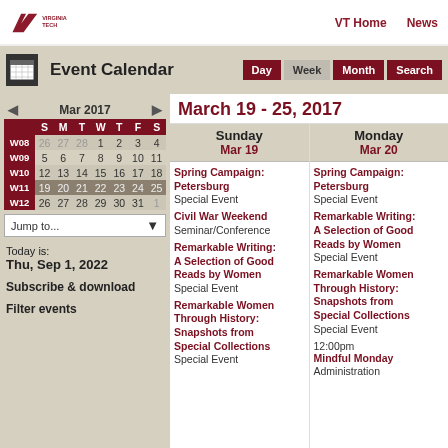Virginia Tech | VT Home | News
Event Calendar
March 19 - 25, 2017
|  | S | M | T | W | T | F | S |
| --- | --- | --- | --- | --- | --- | --- | --- |
| W08 | 26 | 27 | 28 | 1 | 2 | 3 | 4 |
| W09 | 5 | 6 | 7 | 8 | 9 | 10 | 11 |
| W10 | 12 | 13 | 14 | 15 | 16 | 17 | 18 |
| W11 | 19 | 20 | 21 | 22 | 23 | 24 | 25 |
| W12 | 26 | 27 | 28 | 29 | 30 | 31 | 1 |
Today is:
Thu, Sep 1, 2022
Subscribe & download
Filter events
Sunday Mar 19
Monday Mar 20
Spring Campaign: Petersburg Special Event
Spring Campaign: Petersburg Special Event
Civil War Weekend Seminar/Conference
Remarkable Writing: A Selection of Good Reads by Women Special Event
Remarkable Writing: A Selection of Good Reads by Women Special Event
Remarkable Women Through History: Snapshots from Special Collections Special Event
Remarkable Women Through History: Snapshots from Special Collections Special Event
12:00pm Mindful Monday Administration